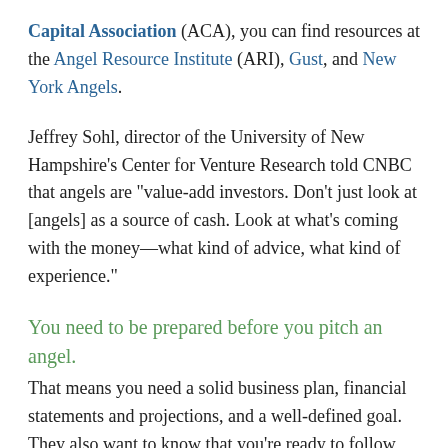Capital Association (ACA), you can find resources at the Angel Resource Institute (ARI), Gust, and New York Angels.
Jeffrey Sohl, director of the University of New Hampshire's Center for Venture Research told CNBC that angels are "value-add investors. Don't just look at [angels] as a source of cash. Look at what's coming with the money—what kind of advice, what kind of experience."
You need to be prepared before you pitch an angel.
That means you need a solid business plan, financial statements and projections, and a well-defined goal. They also want to know that you're ready to follow